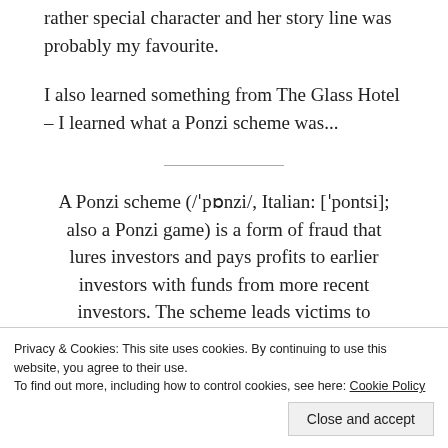rather special character and her story line was probably my favourite.
I also learned something from The Glass Hotel – I learned what a Ponzi scheme was...
A Ponzi scheme (/ˈpɒnzi/, Italian: [ˈpontsi]; also a Ponzi game) is a form of fraud that lures investors and pays profits to earlier investors with funds from more recent investors. The scheme leads victims to believe that profits are coming from product
new investors contribute new funds, and as
Privacy & Cookies: This site uses cookies. By continuing to use this website, you agree to their use.
To find out more, including how to control cookies, see here: Cookie Policy
Close and accept